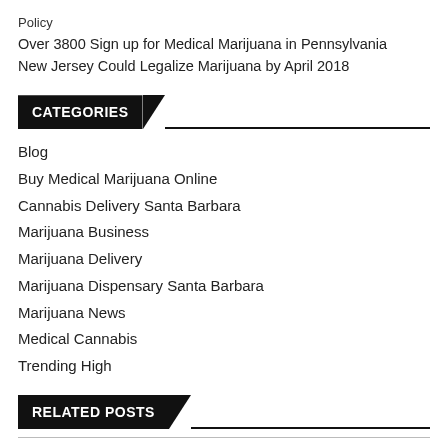Policy
Over 3800 Sign up for Medical Marijuana in Pennsylvania
New Jersey Could Legalize Marijuana by April 2018
CATEGORIES
Blog
Buy Medical Marijuana Online
Cannabis Delivery Santa Barbara
Marijuana Business
Marijuana Delivery
Marijuana Dispensary Santa Barbara
Marijuana News
Medical Cannabis
Trending High
RELATED POSTS